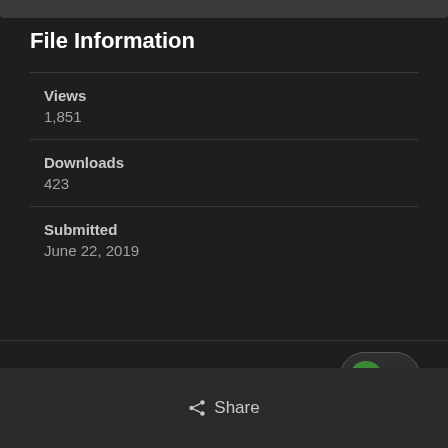File Information
Views
1,851
Downloads
423
Submitted
June 22, 2019
[Figure (infographic): Vote up button showing count of 2 votes, green circular arrow icon with number 2]
Share